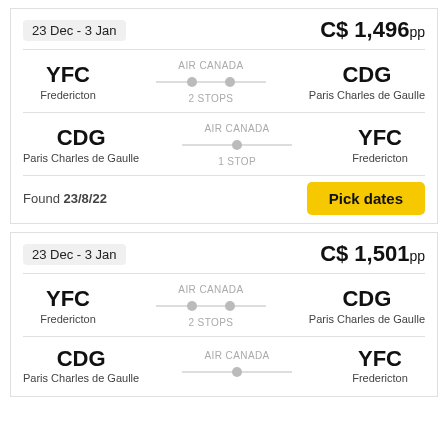23 Dec - 3 Jan
C$ 1,496pp
YFC Fredericton — AIR CANADA — CDG Paris Charles de Gaulle — 2 STOPS
CDG Paris Charles de Gaulle — AIR CANADA — YFC Fredericton — 1 STOP
Found 23/8/22
Pick dates
23 Dec - 3 Jan
C$ 1,501pp
YFC Fredericton — AIR CANADA — CDG Paris Charles de Gaulle — 2 STOPS
CDG Paris Charles de Gaulle — AIR CANADA — YFC Fredericton